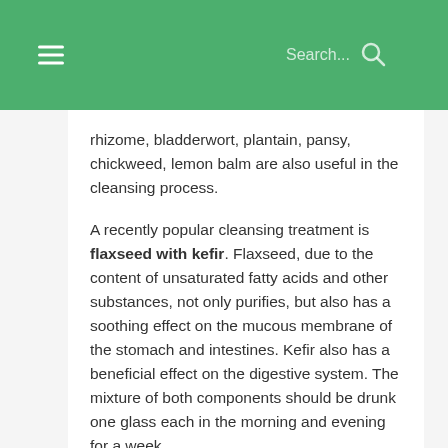≡  Search...
rhizome, bladderwort, plantain, pansy, chickweed, lemon balm are also useful in the cleansing process.

A recently popular cleansing treatment is flaxseed with kefir. Flaxseed, due to the content of unsaturated fatty acids and other substances, not only purifies, but also has a soothing effect on the mucous membrane of the stomach and intestines. Kefir also has a beneficial effect on the digestive system. The mixture of both components should be drunk one glass each in the morning and evening for a week.